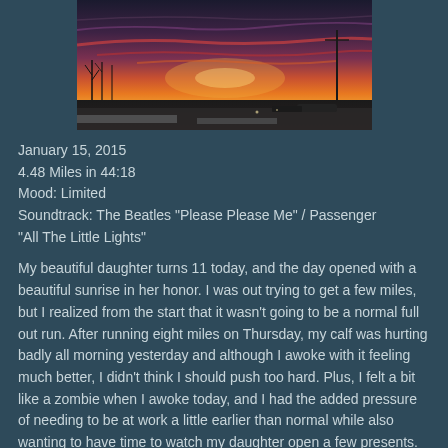[Figure (photo): A wide panoramic sunset photo showing vivid orange, pink, and purple sky over a dark silhouetted landscape with bare trees and a parking lot with snow on the ground.]
January 15, 2015
4.48 Miles in 44:18
Mood: Limited
Soundtrack: The Beatles "Please Please Me" / Passenger "All The Little Lights"
My beautiful daughter turns 11 today, and the day opened with a beautiful sunrise in her honor. I was out trying to get a few miles, but I realized from the start that it wasn't going to be a normal full out run. After running eight miles on Thursday, my calf was hurting badly all morning yesterday and although I awoke with it feeling much better, I didn't think I should push too hard. Plus, I felt a bit like a zombie when I awoke today, and I had the added pressure of needing to be at work a little earlier than normal while also wanting to have time to watch my daughter open a few presents. So the compromise was to go easy today, going less than five miles